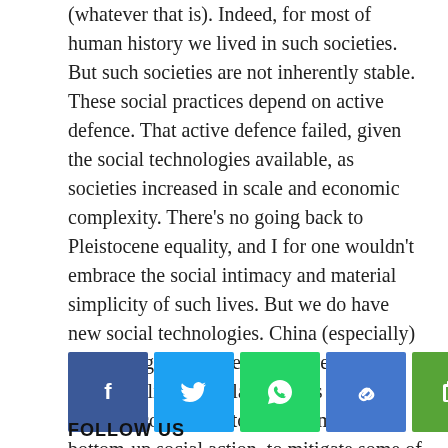(whatever that is). Indeed, for most of human history we lived in such societies. But such societies are not inherently stable. These social practices depend on active defence. That active defence failed, given the social technologies available, as societies increased in scale and economic complexity. There's no going back to Pleistocene equality, and I for one wouldn't embrace the social intimacy and material simplicity of such lives. But we do have new social technologies. China (especially) is showing how those can be used to enhance elite surveillance. Let's hope they can be reconfigured to support more bottom-up social action, to mitigate some of the effects of imbalances of wealth and power."
[Figure (infographic): Row of social sharing buttons: Facebook (blue), Twitter (blue), WhatsApp (green), Copy link (blue), Evernote (green), Flipboard (red), Instapaper (black), Pocket (red), Print (grey), More (orange)]
FOLLOW US